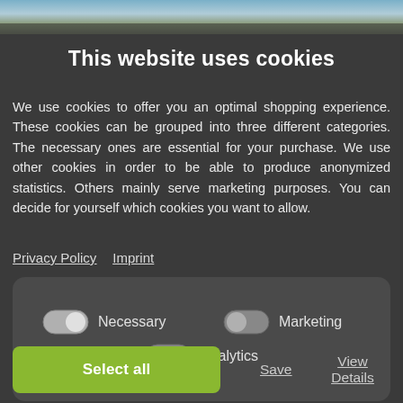[Figure (photo): Background photo strip at top of page showing sky and landscape/buildings]
This website uses cookies
We use cookies to offer you an optimal shopping experience. These cookies can be grouped into three different categories. The necessary ones are essential for your purchase. We use other cookies in order to be able to produce anonymized statistics. Others mainly serve marketing purposes. You can decide for yourself which cookies you want to allow.
Privacy Policy   Imprint
[Figure (infographic): Toggle switches panel with three options: Necessary (on), Marketing (off), Analytics (off)]
Select all   Save   View Details